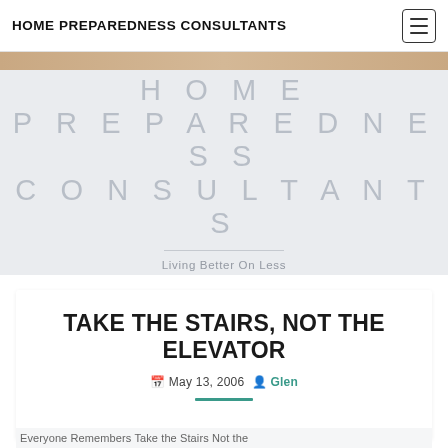HOME PREPAREDNESS CONSULTANTS
HOME PREPAREDNESS CONSULTANTS
Living Better On Less
TAKE THE STAIRS, NOT THE ELEVATOR
May 13, 2006  Glen
Everyone Remembers Take the Stairs Not the